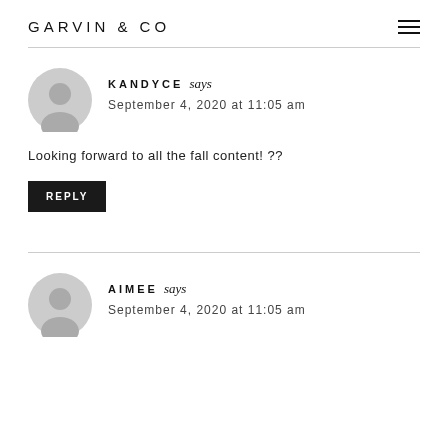GARVIN & CO
KANDYCE says
September 4, 2020 at 11:05 am
Looking forward to all the fall content!  ??
REPLY
AIMEE says
September 4, 2020 at 11:05 am